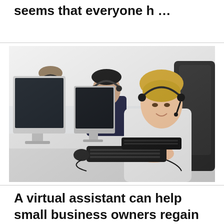seems that everyone h …
[Figure (photo): Office photo showing three people (two women and one man) sitting at a row of desks with computer monitors, keyboards, and headsets, in a call center or customer support setting. The front person is a smiling blonde woman wearing a headset and white shirt, looking at the camera.]
A virtual assistant can help small business owners regain their work/life balanc …